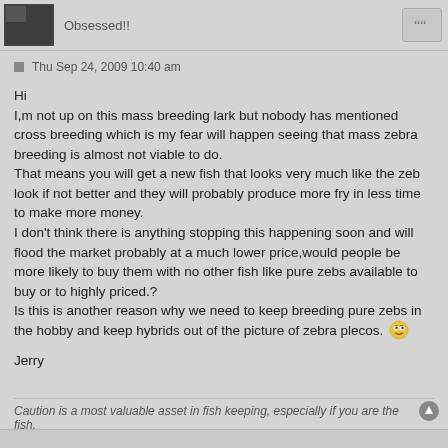Obsessed!!
Thu Sep 24, 2009 10:40 am
Hi
I,m not up on this mass breeding lark but nobody has mentioned cross breeding which is my fear will happen seeing that mass zebra breeding is almost not viable to do.
That means you will get a new fish that looks very much like the zeb look if not better and they will probably produce more fry in less time to make more money.
I don't think there is anything stopping this happening soon and will flood the market probably at a much lower price,would people be more likely to buy them with no other fish like pure zebs available to buy or to highly priced.?
Is this is another reason why we need to keep breeding pure zebs in the hobby and keep hybrids out of the picture of zebra plecos.

Jerry
Caution is a most valuable asset in fish keeping, especially if you are the fish.